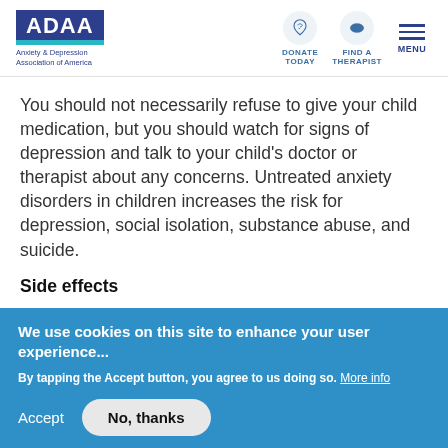ADAA - Anxiety & Depression Association of America | DONATE TODAY | FIND A THERAPIST | MENU
You should not necessarily refuse to give your child medication, but you should watch for signs of depression and talk to your child's doctor or therapist about any concerns. Untreated anxiety disorders in children increases the risk for depression, social isolation, substance abuse, and suicide.
Side effects
We use cookies on this site to enhance your user experience...
By tapping the Accept button, you agree to us doing so. More info
Accept | No, thanks